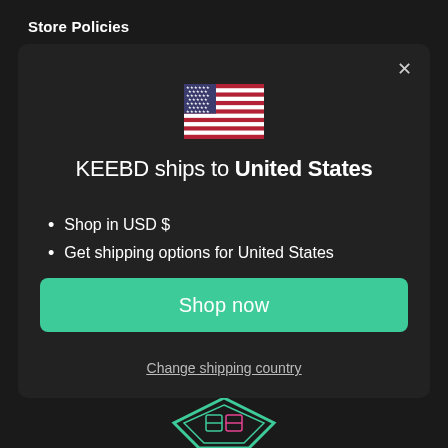Store Policies
[Figure (screenshot): Modal dialog on dark background showing KEEBD ships to United States with US flag, bullet points, Shop now button, and Change shipping country link]
KEEBD ships to United States
Shop in USD $
Get shipping options for United States
Shop now
Change shipping country
[Figure (logo): KEEBD logo partially visible at bottom of page]